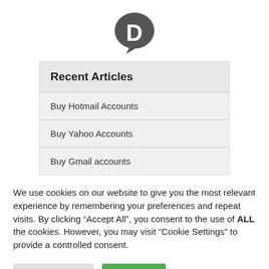[Figure (logo): Disqus logo: dark gray speech bubble with white letter D]
Recent Articles
Buy Hotmail Accounts
Buy Yahoo Accounts
Buy Gmail accounts
We use cookies on our website to give you the most relevant experience by remembering your preferences and repeat visits. By clicking “Accept All”, you consent to the use of ALL the cookies. However, you may visit “Cookie Settings” to provide a controlled consent.
Cookie Settings
Accept All